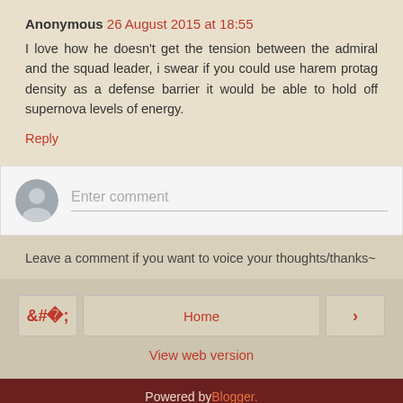Anonymous 26 August 2015 at 18:55
I love how he doesn't get the tension between the admiral and the squad leader, i swear if you could use harem protag density as a defense barrier it would be able to hold off supernova levels of energy.
Reply
[Figure (screenshot): Comment input box with avatar icon and 'Enter comment' placeholder text]
Leave a comment if you want to voice your thoughts/thanks~
Home
View web version
Powered by Blogger.